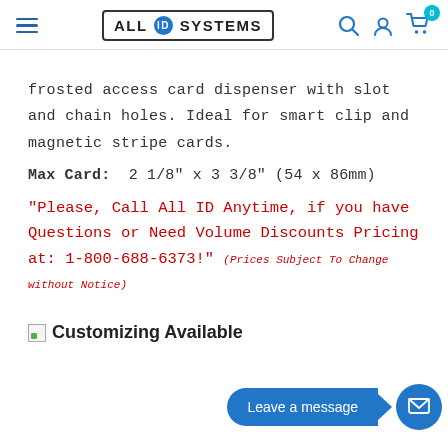ALL ID SYSTEMS
frosted access card dispenser with slot and chain holes. Ideal for smart clip and magnetic stripe cards.
Max Card:  2 1/8" x 3 3/8" (54 x 86mm)
"Please, Call All ID Anytime, if you have Questions or Need Volume Discounts Pricing at: 1-800-688-6373!" (Prices Subject To Change without Notice)
Customizing Available